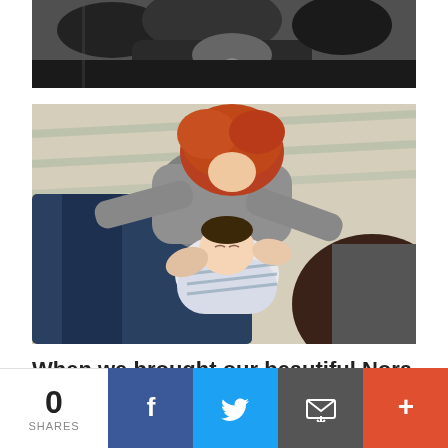[Figure (photo): Black and white photo of a person holding a baby with a dog nearby, top portion of image visible]
[Figure (photo): Color photo of a red-haired toddler leaning down to kiss a sleeping newborn wrapped in a blanket, while adults hold the baby]
When we brought our beautiful Nora Pepper
0 SHARES | Facebook | Twitter | Email | More